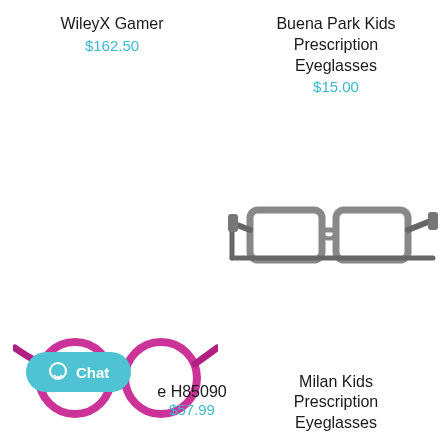WileyX Gamer
$162.50
[Figure (photo): Pink round children's eyeglasses frames]
e H85090
$57.99
Buena Park Kids Prescription Eyeglasses
$15.00
[Figure (photo): Gray children's sports prescription eyeglasses with strap]
Milan Kids Prescription Eyeglasses